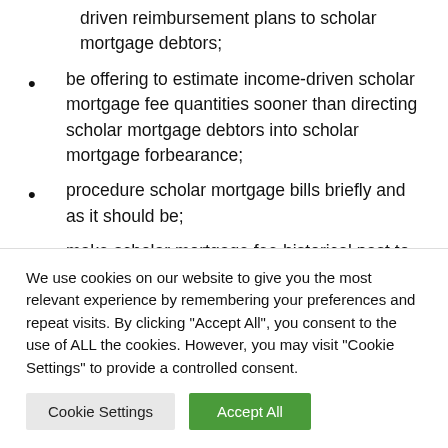driven reimbursement plans to scholar mortgage debtors;
be offering to estimate income-driven scholar mortgage fee quantities sooner than directing scholar mortgage debtors into scholar mortgage forbearance;
procedure scholar mortgage bills briefly and as it should be;
make scholar mortgage fee historical past to be had to debtors
We use cookies on our website to give you the most relevant experience by remembering your preferences and repeat visits. By clicking "Accept All", you consent to the use of ALL the cookies. However, you may visit "Cookie Settings" to provide a controlled consent.